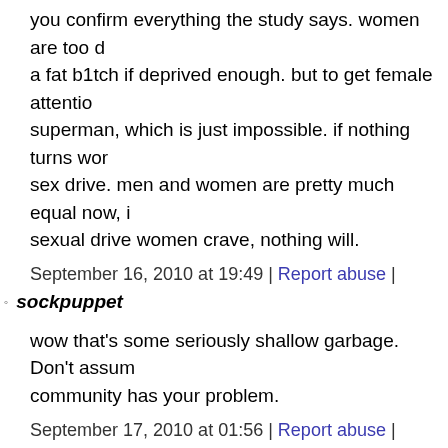you confirm everything the study says. women are too d... a fat b1tch if deprived enough. but to get female attentio... superman, which is just impossible. if nothing turns wor... sex drive. men and women are pretty much equal now, i... sexual drive women crave, nothing will.
September 16, 2010 at 19:49 | Report abuse |
sockpuppet
wow that's some seriously shallow garbage. Don't assum... community has your problem.
September 17, 2010 at 01:56 | Report abuse |
Hungry Man
Actually, women aren't picky at -all-, relatively-speaking... funny, smart, wealthy, etc. They don't actually have to be... attractive. Consider the opposite: would you screw a fatt... personality"? If so, my hat off to you, because you are a...
September 17, 2010 at 12:04 | Report abuse |
Frank
Since when does a guy need to be 'good looking', 'witty',... all these gross frat boy types banging women.